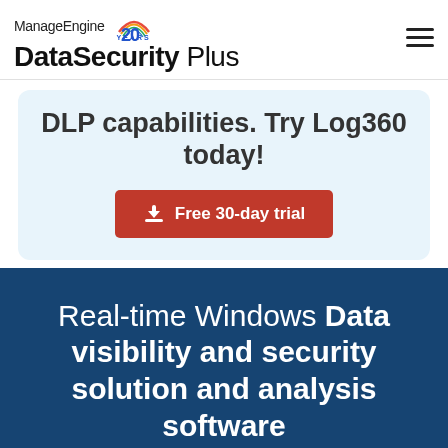ManageEngine 20 YEARS DataSecurity Plus
DLP capabilities. Try Log360 today!
Free 30-day trial
Real-time Windows Data visibility and security solution and analysis software